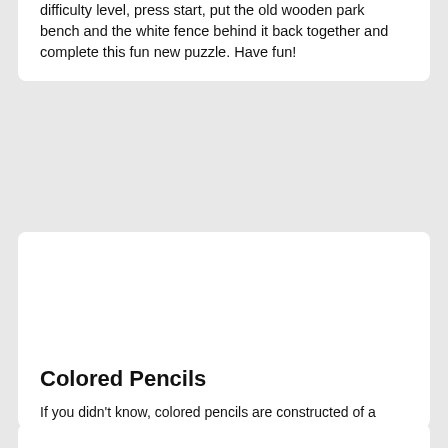difficulty level, press start, put the old wooden park bench and the white fence behind it back together and complete this fun new puzzle. Have fun!
[Figure (illustration): White blank area representing an image placeholder in the second card]
Colored Pencils
If you didn't know, colored pencils are constructed of a narrow, pigmented core encased in a wooden case. Unlike graphite and charcoal pencils, colored pencils' cores are wax- or oil-based and contain varying proportions of pigments and other additives. In today's puzzle we feature a set of colored pencils with three shades of green, blue, yellow, red, a black, a pink, a orange, a brown, a grey and a white pencil.